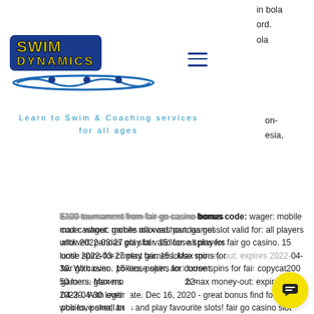[Figure (logo): Swim Dynamics logo with blue background, yellow text and wave graphic]
[Figure (other): Hamburger menu icon (three horizontal lines)]
in bola
ord.
ola
Learn to Swim & Coaching services for all ages
on-
esia,
$100 tournament from fair go casino bonus code: wager: mobile max cashout: games allowed: pandas gol slot valid for: all players until: 2022-03-27 play fair. 15 loose spins for fair go casino. 15 loose spins for current gamers. Max money-out: expires 2022-04-30. With over : pokies, poker, and loose spins for fair copycat200 50 loose gamers playthrough: 60xb max money-out: expires on 2022-04-30 legitimate. Dec 16, 2020 - great bonus find for those who love small bets and play favourite slots! fair go casino slot bonus offers for slots. Match and
[Figure (other): Chat popup with avatar icon saying 'Got any questions? I'm happy to help.' and yellow chat button]